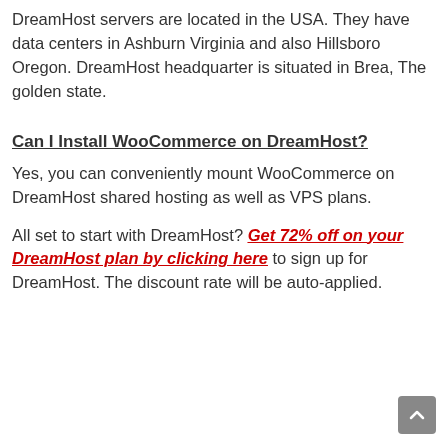DreamHost servers are located in the USA. They have data centers in Ashburn Virginia and also Hillsboro Oregon. DreamHost headquarter is situated in Brea, The golden state.
Can I Install WooCommerce on DreamHost?
Yes, you can conveniently mount WooCommerce on DreamHost shared hosting as well as VPS plans.
All set to start with DreamHost? Get 72% off on your DreamHost plan by clicking here to sign up for DreamHost. The discount rate will be auto-applied.